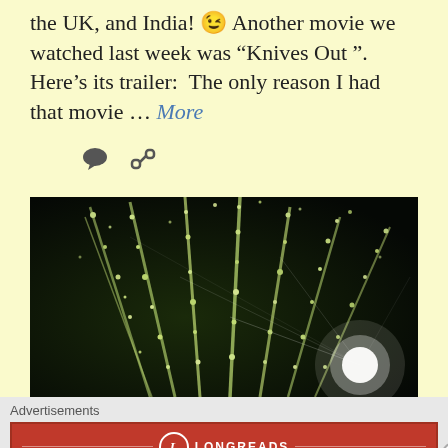the UK, and India! 😉 Another movie we watched last week was “Knives Out ”. Here’s its trailer:  The only reason I had that movie ... More
[Figure (other): Two social icons: a speech bubble (comment) icon and a chain link (reblog/share) icon]
[Figure (photo): Fireworks display against a dark night sky, showing bright greenish-white sparkles radiating outward like palm tree shapes with a bright light source at lower right]
Advertisements
[Figure (other): Longreads advertisement banner with red background. Logo circle with L, brand name LONGREADS, tagline: The best stories on the web – ours, and everyone else’s.]